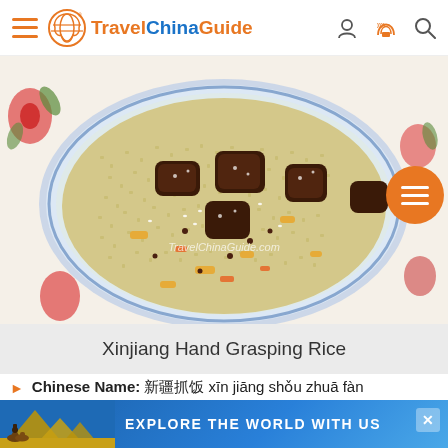Travel China Guide
[Figure (photo): A plate of Xinjiang Hand Grasping Rice - fried rice with lamb pieces, vegetables, and sesame seeds on a blue and white decorative plate, placed on a floral tablecloth. Watermark reads TravelChinaGuide.com]
Xinjiang Hand Grasping Rice
Chinese Name: 新疆抓饭 xīn jiāng shǒu zhuā fàn
Flavor: salty
[Figure (photo): Advertisement banner showing pyramids and camels with text EXPLORE THE WORLD WITH US]